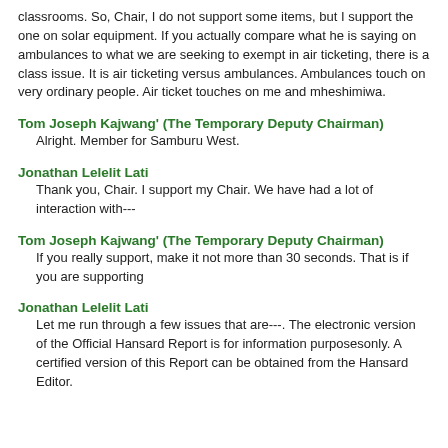classrooms. So, Chair, I do not support some items, but I support the one on solar equipment. If you actually compare what he is saying on ambulances to what we are seeking to exempt in air ticketing, there is a class issue. It is air ticketing versus ambulances. Ambulances touch on very ordinary people. Air ticket touches on me and mheshimiwa.
Tom Joseph Kajwang' (The Temporary Deputy Chairman) Alright. Member for Samburu West.
Jonathan Lelelit Lati Thank you, Chair. I support my Chair. We have had a lot of interaction with---
Tom Joseph Kajwang' (The Temporary Deputy Chairman) If you really support, make it not more than 30 seconds. That is if you are supporting
Jonathan Lelelit Lati Let me run through a few issues that are---. The electronic version of the Official Hansard Report is for information purposesonly. A certified version of this Report can be obtained from the Hansard Editor.